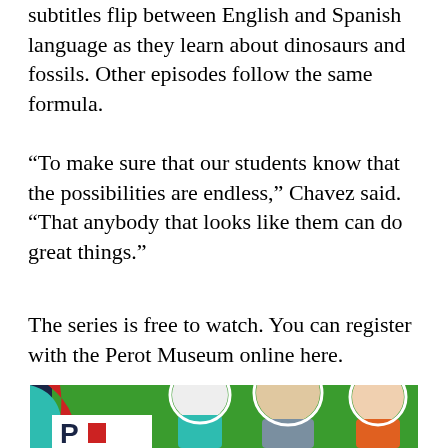subtitles flip between English and Spanish language as they learn about dinosaurs and fossils. Other episodes follow the same formula.
“To make sure that our students know that the possibilities are endless,” Chavez said. “That anybody that looks like them can do great things.”
The series is free to watch. You can register with the Perot Museum online here.
[Figure (photo): Three children smiling on a colorful green, red, and dark blue background. A white Perot Museum logo is partially visible at the bottom left.]